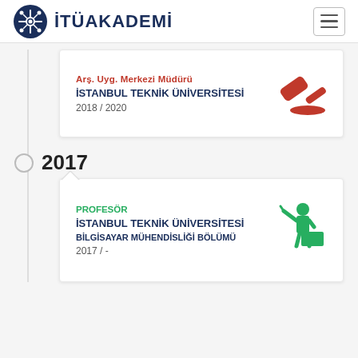[Figure (logo): İTÜ Akademi logo with circular network icon and text 'İTÜAKADEMİ']
Arş. Uyg. Merkezi Müdürü
İSTANBUL TEKNİK ÜNİVERSİTESİ
2018 / 2020
[Figure (illustration): Red gavel/hammer icon]
2017
PROFESÖR
İSTANBUL TEKNİK ÜNİVERSİTESİ
BİLGİSAYAR MÜHENDİSLİĞİ BÖLÜMÜ
2017 / -
[Figure (illustration): Green professor/lecturer icon with podium]